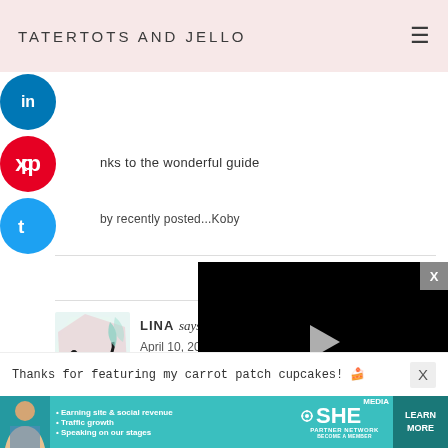TATERTOTS AND JELLO
[Figure (other): LinkedIn share button (blue circle with 'in' icon)]
[Figure (other): Pinterest share button (red circle with 'p' icon)]
nks to the wonderful guide
[Figure (other): Twitter share button (blue circle with bird icon)]
by recently posted...Koby
[Figure (other): User avatar with dog silhouette illustration - Lina's profile photo]
LINA says
April 10, 20
[Figure (screenshot): Embedded video player showing black screen with play button and controls showing 13:52 duration]
Thanks for featuring my carrot patch cupcakes! 🍰
[Figure (other): SHE Partner Network advertisement banner with woman photo, bullet points about earning site & social revenue, traffic growth, speaking on our stages, and a LEARN MORE button]